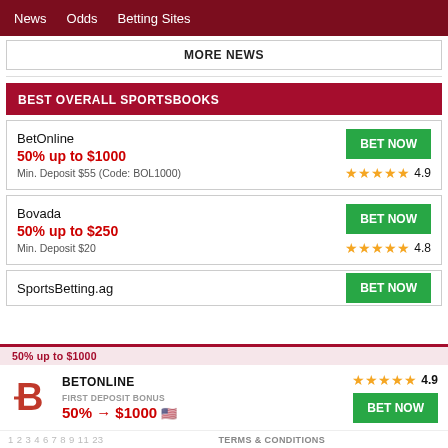News  Odds  Betting Sites
MORE NEWS
BEST OVERALL SPORTSBOOKS
BetOnline
50% up to $1000
Min. Deposit $55 (Code: BOL1000)
★★★★★ 4.9
Bovada
50% up to $250
Min. Deposit $20
★★★★★ 4.8
SportsBetting.ag
BET NOW
BETONLINE
★★★★★ 4.9
FIRST DEPOSIT BONUS
50% → $1000 🇺🇸
TERMS & CONDITIONS